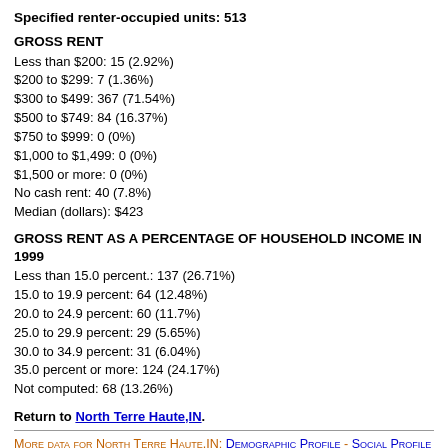Specified renter-occupied units: 513
GROSS RENT
Less than $200: 15 (2.92%)
$200 to $299: 7 (1.36%)
$300 to $499: 367 (71.54%)
$500 to $749: 84 (16.37%)
$750 to $999: 0 (0%)
$1,000 to $1,499: 0 (0%)
$1,500 or more: 0 (0%)
No cash rent: 40 (7.8%)
Median (dollars): $423
GROSS RENT AS A PERCENTAGE OF HOUSEHOLD INCOME IN 1999
Less than 15.0 percent.: 137 (26.71%)
15.0 to 19.9 percent: 64 (12.48%)
20.0 to 24.9 percent: 60 (11.7%)
25.0 to 29.9 percent: 29 (5.65%)
30.0 to 34.9 percent: 31 (6.04%)
35.0 percent or more: 124 (24.17%)
Not computed: 68 (13.26%)
Return to North Terre Haute,IN.
More data for North Terre Haute,IN: Demographic Profile - Social Profile - Economic Profile - Housing Profile